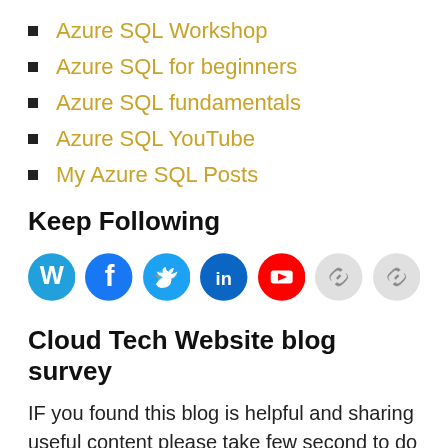Azure SQL Workshop
Azure SQL for beginners
Azure SQL fundamentals
Azure SQL YouTube
My Azure SQL Posts
Keep Following
[Figure (infographic): Row of social media icon circles: WordPress (blue), Facebook (blue), Twitter (light blue), LinkedIn (dark blue), YouTube (red), and two chain/link icons (light gray)]
Cloud Tech Website blog survey
IF you found this blog is helpful and sharing useful content please take few second to do